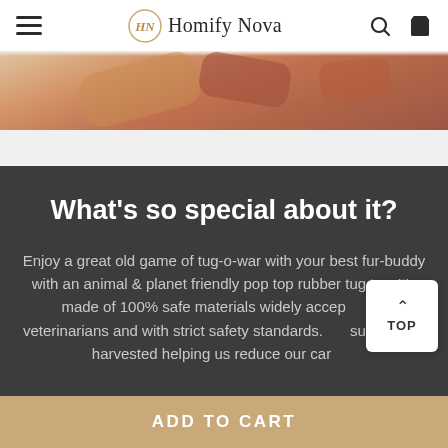Homify Nova
[Figure (photo): Close-up photo of orange/brown rubber pet toy (tug toy) on a light surface]
What's so special about it?
Enjoy a great old game of tug-o-war with your best fur-buddy with an animal & planet friendly pop top rubber tug toy. It's made of 100% safe materials widely accepted by veterinarians and with strict safety standards. It's sustainably harvested helping us reduce our carbon
ADD TO CART